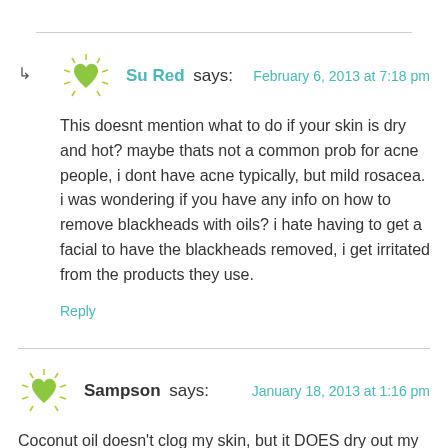Su Red says:   February 6, 2013 at 7:18 pm
This doesnt mention what to do if your skin is dry and hot? maybe thats not a common prob for acne people, i dont have acne typically, but mild rosacea. i was wondering if you have any info on how to remove blackheads with oils? i hate having to get a facial to have the blackheads removed, i get irritated from the products they use.
Reply
Sampson says:   January 18, 2013 at 1:16 pm
Coconut oil doesn't clog my skin, but it DOES dry out my